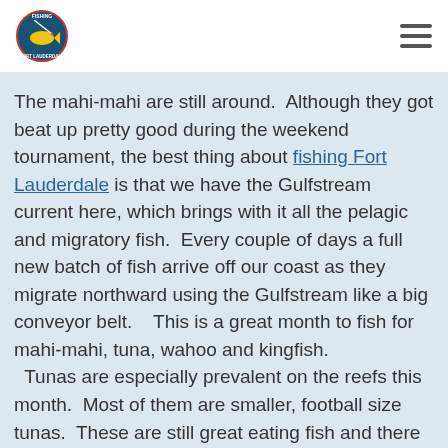[Logo: Fishing Fort Lauderdale] [Hamburger menu icon]
The mahi-mahi are still around.  Although they got beat up pretty good during the weekend tournament, the best thing about fishing Fort Lauderdale is that we have the Gulfstream current here, which brings with it all the pelagic and migratory fish.  Every couple of days a full new batch of fish arrive off our coast as they migrate northward using the Gulfstream like a big conveyor belt.    This is a great month to fish for mahi-mahi, tuna, wahoo and kingfish.  Tunas are especially prevalent on the reefs this month.  Most of them are smaller, football size tunas.  These are still great eating fish and there are no size limits for tuna so they are keepers.  Bigger tuna are mixed in with them too and blackfin tunas can reach sizes up to 30 pounds at times.  Kingfish are here and biting decently.  Slow trolling live baits works well for